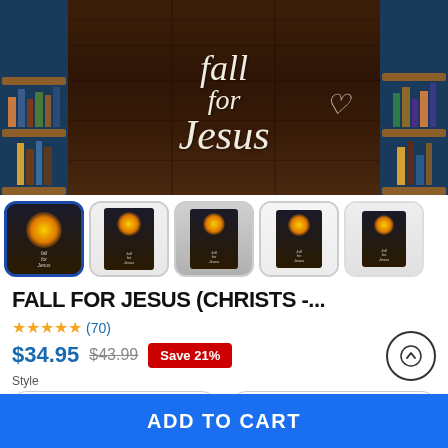[Figure (photo): Main product image showing a wooden panel wall art with cursive text 'fall for Jesus' with a heart, displayed in a room with bookshelves on both sides against a dark blue wall. Five thumbnail images below show the same product from different angles/contexts.]
FALL FOR JESUS (CHRISTS -...
★★★★★ (70)
$34.95  $43.99  Save 21%
Style
Portrait Canvas
Please select the option
ADD TO CART